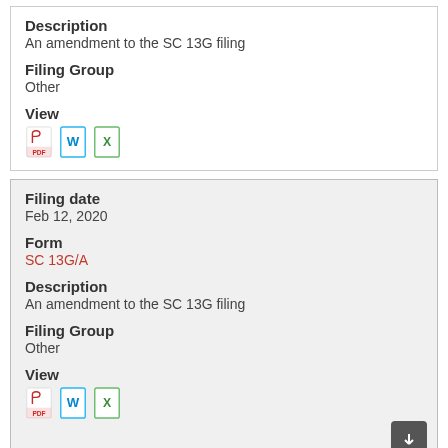Description
An amendment to the SC 13G filing
Filing Group
Other
View
[Figure (other): PDF, Word, and Excel file type icons]
Filing date
Feb 12, 2020
Form
SC 13G/A
Description
An amendment to the SC 13G filing
Filing Group
Other
View
[Figure (other): PDF, Word, and Excel file type icons]